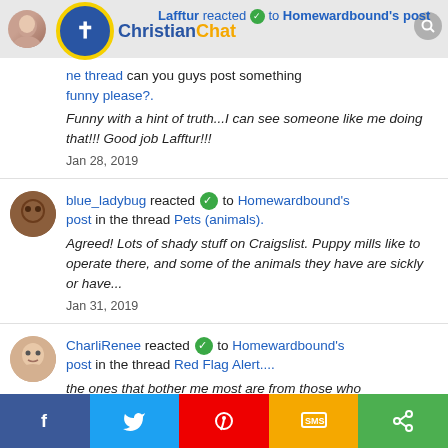Lafftur reacted ✓ to Homewardbound's post — ChristianChat header
Lafftur reacted to Homewardbound's post in the thread can you guys post something funny please?.
Funny with a hint of truth...I can see someone like me doing that!!! Good job Lafftur!!!
Jan 28, 2019
blue_ladybug reacted to Homewardbound's post in the thread Pets (animals).
Agreed! Lots of shady stuff on Craigslist. Puppy mills like to operate there, and some of the animals they have are sickly or have...
Jan 31, 2019
CharliRenee reacted to Homewardbound's post in the thread Red Flag Alert....
the ones that bother me most are from those who
f  Twitter  Pinterest  SMS  Share